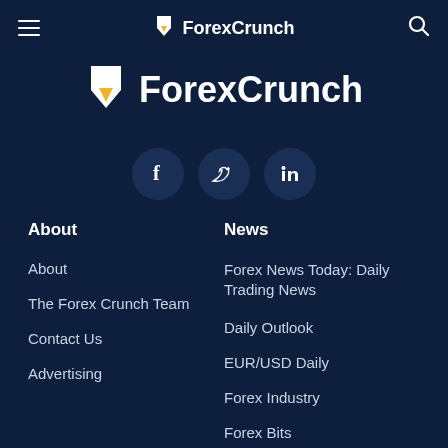ForexCrunch
ForexCrunch
[Figure (other): Social media icons: Facebook, Twitter, LinkedIn]
About
About
The Forex Crunch Team
Contact Us
Advertising
News
Forex News Today: Daily Trading News
Daily Outlook
EUR/USD Daily
Forex Industry
Forex Bits